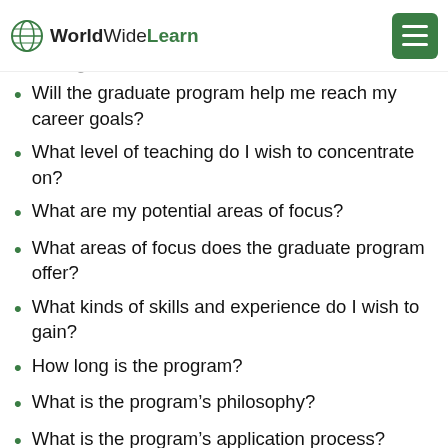WorldWideLearn
certifications or licenses while enrolled? In what direction do I wish to take my teaching career?
Will the graduate program help me reach my career goals?
What level of teaching do I wish to concentrate on?
What are my potential areas of focus?
What areas of focus does the graduate program offer?
What kinds of skills and experience do I wish to gain?
How long is the program?
What is the program's philosophy?
What is the program's application process?
Does the program require that students write a graduate thesis?
Does it require any fieldwork?
Does it require extensive research?